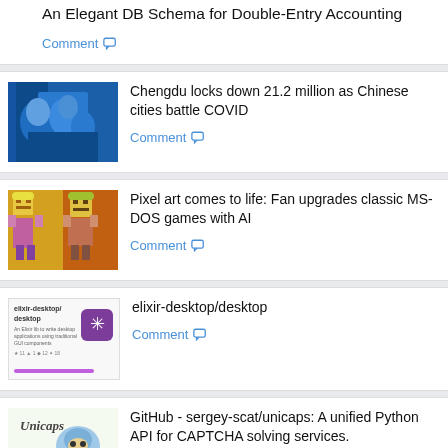An Elegant DB Schema for Double-Entry Accounting
Comment
[Figure (photo): People in blue protective gear at COVID testing site in China]
Chengdu locks down 21.2 million as Chinese cities battle COVID
Comment
[Figure (illustration): Pixel art characters - animated figures with helmets, colorful pixel art style]
Pixel art comes to life: Fan upgrades classic MS-DOS games with AI
Comment
[Figure (screenshot): elixir-desktop/desktop GitHub repository screenshot with purple snowflake icon]
elixir-desktop/desktop
Comment
[Figure (logo): Unicaps logo with text and cartoon character with helmet]
GitHub - sergey-scat/unicaps: A unified Python API for CAPTCHA solving services.
Comment
[Figure (photo): Partial image of a soccer ball or panda-like figure, black and white]
Why DeepMind Is Sending AI Humanoids to Soccer Camp